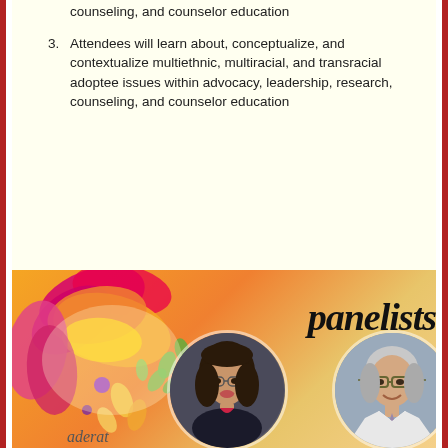counseling, and counselor education
3. Attendees will learn about, conceptualize, and contextualize multiethnic, multiracial, and transracial adoptee issues within advocacy, leadership, research, counseling, and counselor education
[Figure (illustration): Decorative floral illustration with pink, magenta, orange, yellow petals and green leaf drops, purple dots]
panelists
[Figure (photo): Circular headshot photo of Dr. Susan Branco, a woman with long dark hair and glasses, smiling]
[Figure (photo): Circular headshot photo of Mark Kenney, a man with glasses and gray hair wearing a white shirt and tie]
Dr. Susan Branco
Mark Kenney
[Figure (photo): Circular photo of a woman with dark hair outdoors near green foliage, smiling]
[Figure (photo): Circular photo of a person wearing a blue mask at an outdoor protest, holding a sign that reads School Counselor Not CO]
[Figure (logo): MMCG logo with rainbow arch above the text MMCG and horizontal lines below]
[Figure (logo): IAMCD logo with two person silhouettes inside a circle with iamcd text]
aderat